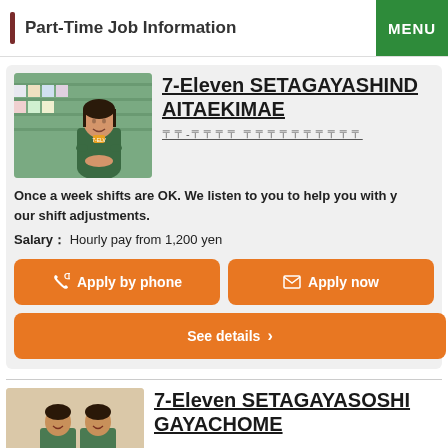Part-Time Job Information
[Figure (photo): A woman in green 7-Eleven uniform standing in front of store shelves]
7-Eleven SETAGAYASHINDAITAEKIMAE
〒〒-〒〒〒〒 〒〒〒〒〒〒〒〒〒〒
Once a week shifts are OK. We listen to you to help you with your shift adjustments.
Salary： Hourly pay from 1,200 yen
Apply by phone
Apply now
See details ›
[Figure (photo): Two women in 7-Eleven uniforms]
7-Eleven SETAGAYASOSHIGAYACHOME